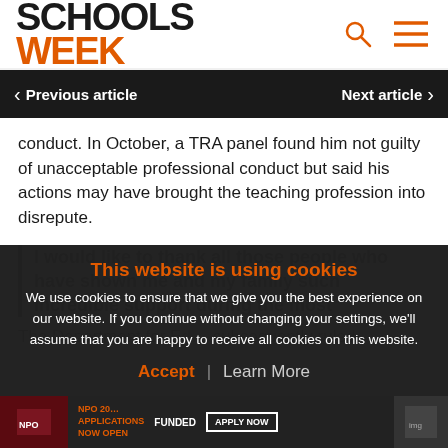SCHOOLS WEEK
< Previous article    Next article >
conduct. In October, a TRA panel found him not guilty of unacceptable professional conduct but said his actions may have brought the teaching profession into disrepute.
I would like to thank all those people who have shown me and my family such incredible support during the most
The Department for Ed… subsequently ruled
This website is using cookies
We use cookies to ensure that we give you the best experience on our website. If you continue without changing your settings, we'll assume that you are happy to receive all cookies on this website.
Accept / Learn More